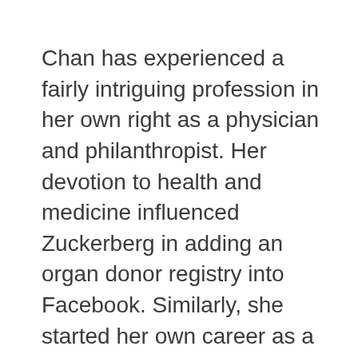Chan has experienced a fairly intriguing profession in her own right as a physician and philanthropist. Her devotion to health and medicine influenced Zuckerberg in adding an organ donor registry into Facebook. Similarly, she started her own career as a nurse in which her charities and contributions are often concentrated on education, health care, and mathematics. But, they handed 18 million Facebook stocks (prestigious at greater than $970 million) into the Silicon Valley Community Foundation at 2013. Additional they declared to give 99 percent of the Facebook stocks, at the point prestigious at $45 billion, compared into the Chan-Zuckerberg Initiative. Additionally, she's planning to start The main School in 2016.